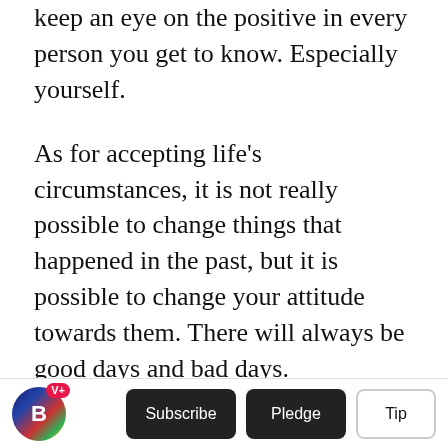keep an eye on the positive in every person you get to know. Especially yourself.
As for accepting life's circumstances, it is not really possible to change things that happened in the past, but it is possible to change your attitude towards them. There will always be good days and bad days. Unfortunately, there will be periods in all our lives when the good days seem few and far between.
Acceptance is a huge factor in creating a positive mindset for yourself so you can try to make those bad days seem shorter and less frequent. With a
Subscribe  Pledge  Tip